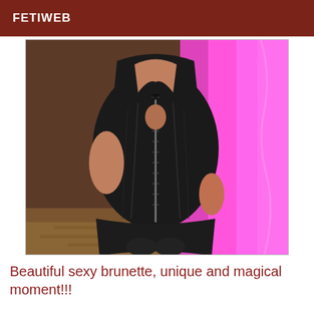FETIWEB
[Figure (photo): A person wearing a black leather mini dress with a cutout and zipper detail, posing in front of a bright pink/magenta background lighting.]
Beautiful sexy brunette, unique and magical moment!!!